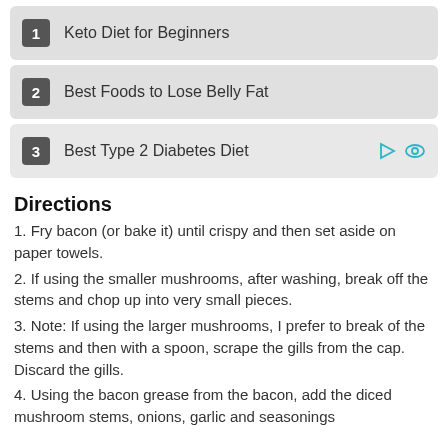1 Keto Diet for Beginners
2 Best Foods to Lose Belly Fat
3 Best Type 2 Diabetes Diet
Directions
1. Fry bacon (or bake it) until crispy and then set aside on paper towels.
2. If using the smaller mushrooms, after washing, break off the stems and chop up into very small pieces.
3. Note:  If using the larger mushrooms, I prefer to break of the stems and then with a spoon, scrape the gills from the cap.  Discard the gills.
4. Using the bacon grease from the bacon, add the diced mushroom stems, onions, garlic and seasonings